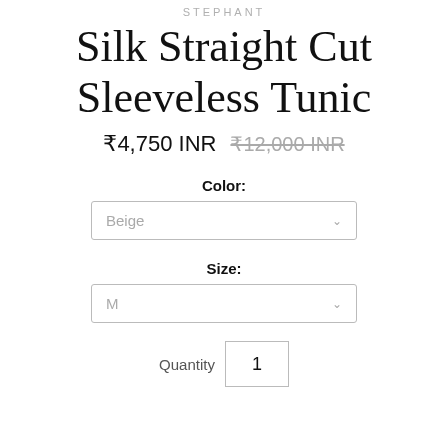STEPHANT
Silk Straight Cut Sleeveless Tunic
₹4,750 INR  ₹12,000 INR
Color:
Beige
Size:
M
Quantity  1